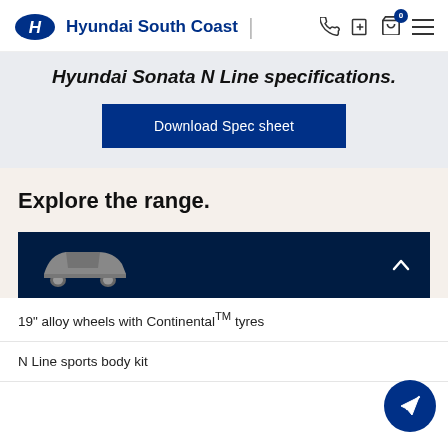Hyundai South Coast
Hyundai Sonata N Line specifications.
Download Spec sheet
Explore the range.
[Figure (photo): Dark navy car card showing a grey Hyundai Sonata N Line car image on the left and a white chevron/caret up icon on the right]
19" alloy wheels with Continental™ tyres
N Line sports body kit